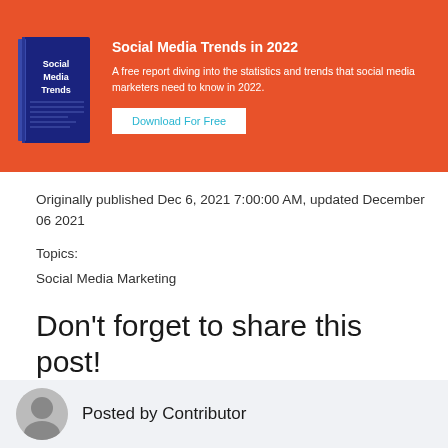[Figure (illustration): Orange promotional banner with a book titled 'Social Media Trends' on the left, headline text 'Social Media Trends in 2022', description text, and a white 'Download For Free' button.]
Originally published Dec 6, 2021 7:00:00 AM, updated December 06 2021
Topics:
Social Media Marketing
Don't forget to share this post!
Posted in: Social Media
Posted by Contributor